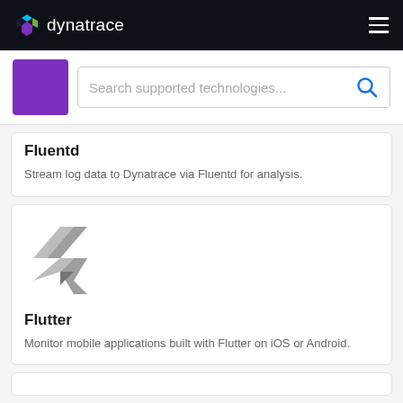dynatrace
[Figure (screenshot): Search bar with purple box placeholder and search icon, placeholder text: Search supported technologies...]
Fluentd
Stream log data to Dynatrace via Fluentd for analysis.
[Figure (logo): Flutter logo in gray]
Flutter
Monitor mobile applications built with Flutter on iOS or Android.